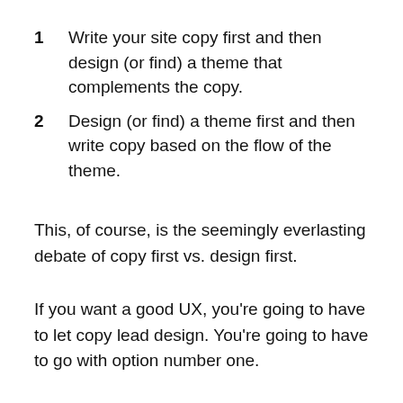1  Write your site copy first and then design (or find) a theme that complements the copy.
2  Design (or find) a theme first and then write copy based on the flow of the theme.
This, of course, is the seemingly everlasting debate of copy first vs. design first.
If you want a good UX, you’re going to have to let copy lead design. You’re going to have to go with option number one.